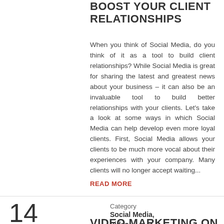BOOST YOUR CLIENT RELATIONSHIPS
When you think of Social Media, do you think of it as a tool to build client relationships? While Social Media is great for sharing the latest and greatest news about your business – it can also be an invaluable tool to build better relationships with your clients. Let's take a look at some ways in which Social Media can help develop even more loyal clients. First, Social Media allows your clients to be much more vocal about their experiences with your company. Many clients will no longer accept waiting...
READ MORE
14
AUG 2015
Category
Social Media, Video
VIDEO MARKETING ON